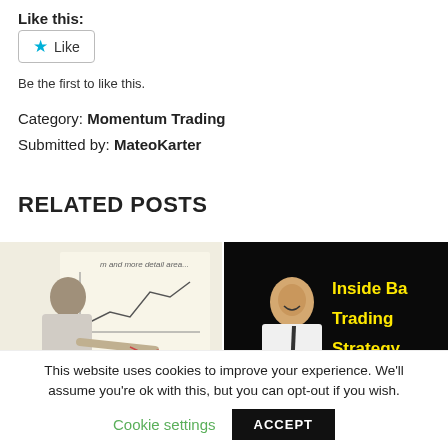Like this:
[Figure (other): Like button with star icon]
Be the first to like this.
Category: Momentum Trading
Submitted by: MateoKarter
RELATED POSTS
[Figure (photo): Person writing on a whiteboard with chart/graph drawing]
[Figure (photo): Man in white shirt smiling, with yellow text 'Inside Bar Trading Strategy' on black background]
This website uses cookies to improve your experience. We'll assume you're ok with this, but you can opt-out if you wish.
Cookie settings   ACCEPT